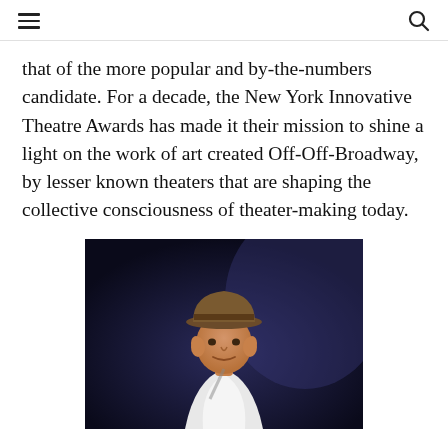[hamburger menu] [search icon]
that of the more popular and by-the-numbers candidate. For a decade, the New York Innovative Theatre Awards has made it their mission to shine a light on the work of art created Off-Off-Broadway, by lesser known theaters that are shaping the collective consciousness of theater-making today.
[Figure (photo): A performer on stage wearing a brown/tan fedora hat and white shirt, photographed against a dark blue/purple stage background, looking slightly upward.]